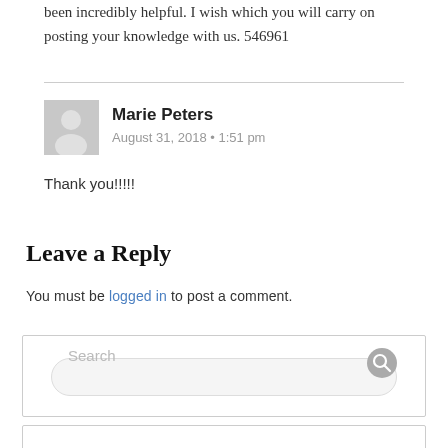been incredibly helpful. I wish which you will carry on posting your knowledge with us. 546961
Marie Peters
August 31, 2018 • 1:51 pm
Thank you!!!!!
Leave a Reply
You must be logged in to post a comment.